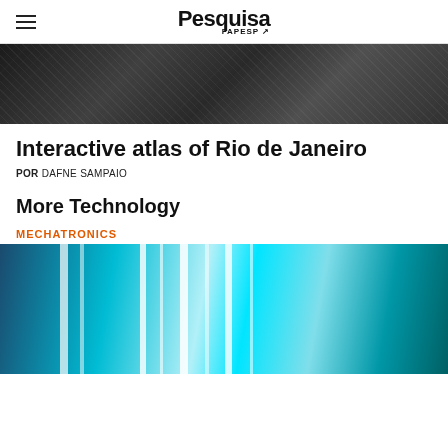Pesquisa FAPESP
[Figure (photo): Black and white aerial or satellite image, appears to show landscape or terrain from above]
Interactive atlas of Rio de Janeiro
POR DAFNE SAMPAIO
More Technology
MECHATRONICS
[Figure (photo): Photo of blue UV light tubes/lamps in an industrial or medical setting, with vertical glowing cyan/turquoise tubes]